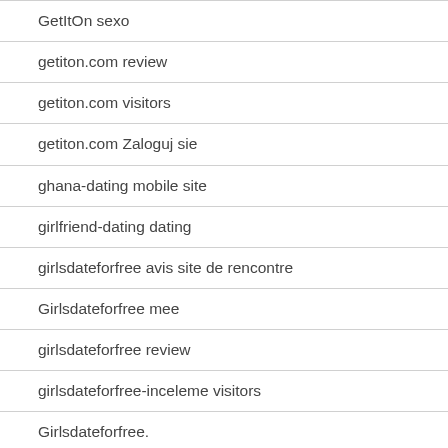GetItOn sexo
getiton.com review
getiton.com visitors
getiton.com Zaloguj sie
ghana-dating mobile site
girlfriend-dating dating
girlsdateforfree avis site de rencontre
Girlsdateforfree mee
girlsdateforfree review
girlsdateforfree-inceleme visitors
Girlsdateforfree...